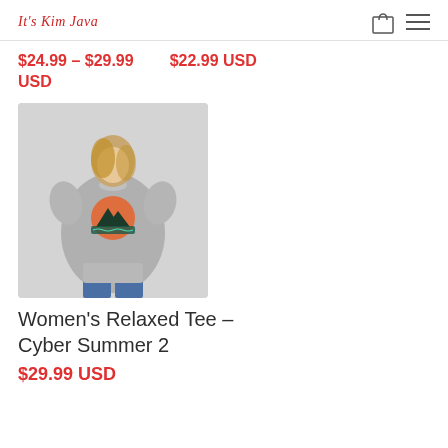It's Kim Java
$24.99 – $29.99 USD    $22.99 USD
[Figure (photo): Woman wearing a grey relaxed fit t-shirt with a mountain/sunset Cyber Summer graphic print, paired with blue jeans]
Women's Relaxed Tee – Cyber Summer 2
$29.99 USD